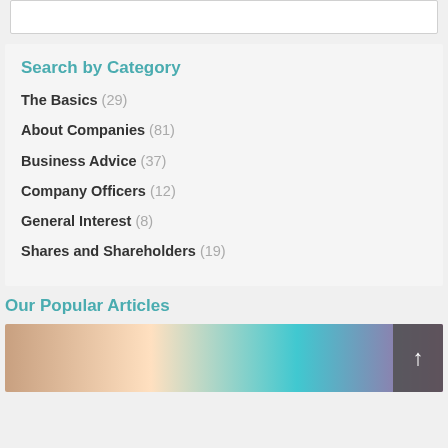Search by Category
The Basics (29)
About Companies (81)
Business Advice (37)
Company Officers (12)
General Interest (8)
Shares and Shareholders (19)
Our Popular Articles
[Figure (photo): Partial photo of hands and a blurred colorful background visible at bottom of page]